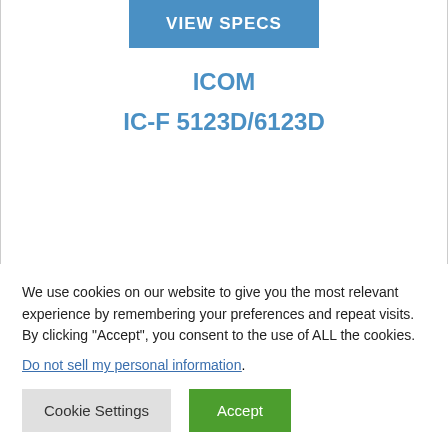VIEW SPECS
ICOM
IC-F 5123D/6123D
We use cookies on our website to give you the most relevant experience by remembering your preferences and repeat visits. By clicking “Accept”, you consent to the use of ALL the cookies.
Do not sell my personal information.
Cookie Settings
Accept